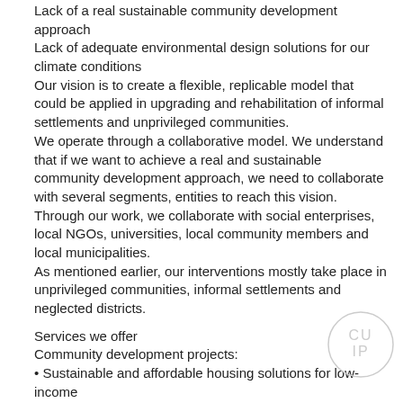Lack of a real sustainable community development approach
Lack of adequate environmental design solutions for our climate conditions
Our vision is to create a flexible, replicable model that could be applied in upgrading and rehabilitation of informal settlements and unprivileged communities.
We operate through a collaborative model. We understand that if we want to achieve a real and sustainable community development approach, we need to collaborate with several segments, entities to reach this vision. Through our work, we collaborate with social enterprises, local NGOs, universities, local community members and local municipalities.
As mentioned earlier, our interventions mostly take place in unprivileged communities, informal settlements and neglected districts.
Services we offer
Community development projects:
• Sustainable and affordable housing solutions for low-income
[Figure (logo): CUIP circular logo with letters CU over IP in light grey]